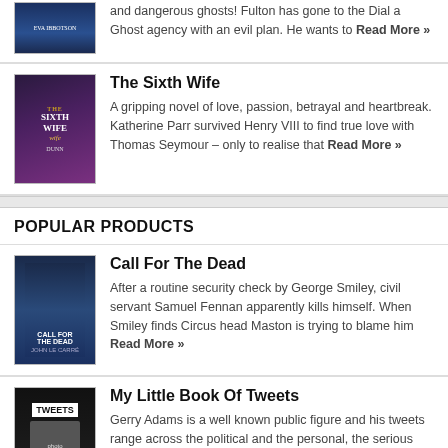[Figure (illustration): Book cover for a ghost-themed novel by Eva Ibbotson]
and dangerous ghosts! Fulton has gone to the Dial a Ghost agency with an evil plan. He wants to Read More »
[Figure (illustration): Book cover for The Sixth Wife by Dunn, showing a woman in period dress on a dark purple background]
The Sixth Wife
A gripping novel of love, passion, betrayal and heartbreak. Katherine Parr survived Henry VIII to find true love with Thomas Seymour – only to realise that Read More »
POPULAR PRODUCTS
[Figure (illustration): Book cover for Call For The Dead, dark blue tones with figures]
Call For The Dead
After a routine security check by George Smiley, civil servant Samuel Fennan apparently kills himself. When Smiley finds Circus head Maston is trying to blame him Read More »
[Figure (illustration): Book cover for My Little Book Of Tweets by Gerry Adams, dark background with photo]
My Little Book Of Tweets
Gerry Adams is a well known public figure and his tweets range across the political and the personal, the serious and the humorous, often featuring rubber Read More »